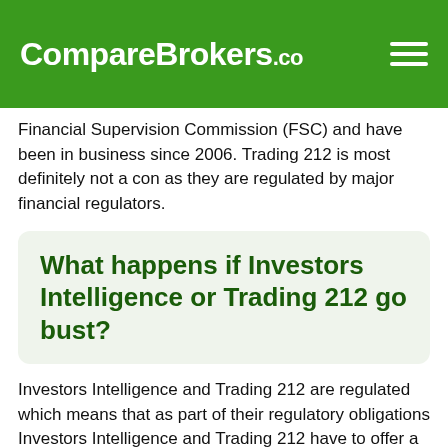CompareBrokers.co
Financial Supervision Commission (FSC) and have been in business since 2006. Trading 212 is most definitely not a con as they are regulated by major financial regulators.
What happens if Investors Intelligence or Trading 212 go bust?
Investors Intelligence and Trading 212 are regulated which means that as part of their regulatory obligations Investors Intelligence and Trading 212 have to offer a certain level of financial protection to their clients. Investors Intelligence and Trading 212 should by law keep client funds separate from Investors Intelligence and Trading 212 funds. If either Investors Intelligence or Trading 212 goes bankrupt they should not